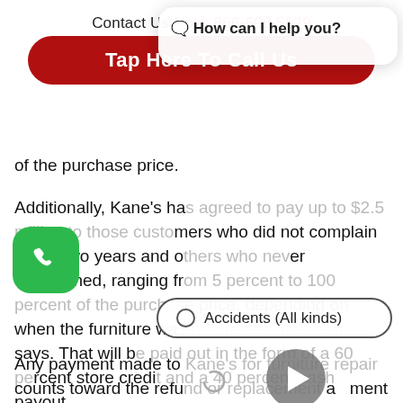Contact Us Now: 866-608-5529
[Figure (screenshot): Red pill-shaped button reading 'Tap Here To Call Us']
of the purchase price.
Additionally, Kane's has agreed to pay up to $2.5 million to those customers who did not complain within two years and others who never complained, ranging from 5 percent to 100 percent of the purchase price, depending on when the furniture was purchased, the claims says. That will be paid out in the form of a 60 percent store credit and a 40 percent cash payout.
Any payment made to Kane's for furniture repair counts toward the refund or replacement amount says. Customers who have already received an amount as credit for a percent eligible for
[Figure (screenshot): Chat popup overlay with header 'How can I help you?' and 'Accidents (All kinds)' radio button option. Green phone icon button at bottom left. Video play button overlay.]